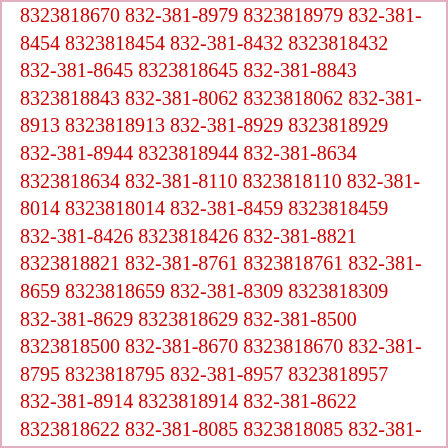8323818670 832-381-8979 8323818979 832-381-8454 8323818454 832-381-8432 8323818432 832-381-8645 8323818645 832-381-8843 8323818843 832-381-8062 8323818062 832-381-8913 8323818913 832-381-8929 8323818929 832-381-8944 8323818944 832-381-8634 8323818634 832-381-8110 8323818110 832-381-8014 8323818014 832-381-8459 8323818459 832-381-8426 8323818426 832-381-8821 8323818821 832-381-8761 8323818761 832-381-8659 8323818659 832-381-8309 8323818309 832-381-8629 8323818629 832-381-8500 8323818500 832-381-8670 8323818670 832-381-8795 8323818795 832-381-8957 8323818957 832-381-8914 8323818914 832-381-8622 8323818622 832-381-8085 8323818085 832-381-8029 8323818029 832-381-8163 8323818163 832-381-8059 8323818059 832-381-8680 8323818680 832-381-8880 8323818880 832-381-8102 8323818102 832-381-8675 8323818675 832-381-8511 8323818511 832-